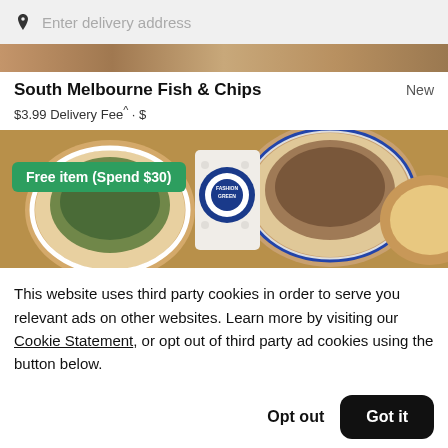Enter delivery address
[Figure (photo): Food image strip at top of restaurant listing page]
South Melbourne Fish & Chips
New
$3.99 Delivery Fee^ • $
[Figure (photo): Food photo showing bowls of food on a wooden table with a green badge overlay reading 'Free item (Spend $30)']
This website uses third party cookies in order to serve you relevant ads on other websites. Learn more by visiting our Cookie Statement, or opt out of third party ad cookies using the button below.
Opt out
Got it